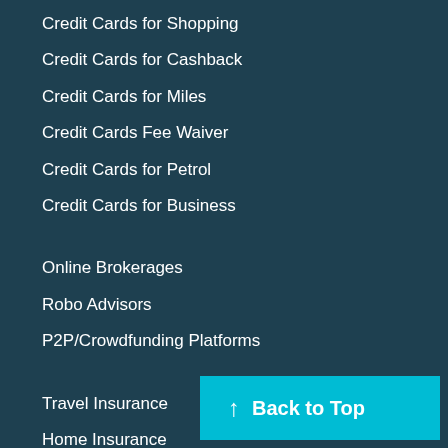Credit Cards for Shopping
Credit Cards for Cashback
Credit Cards for Miles
Credit Cards Fee Waiver
Credit Cards for Petrol
Credit Cards for Business
Online Brokerages
Robo Advisors
P2P/Crowdfunding Platforms
Travel Insurance
Home Insurance
Maid Insurance
Health Insurance
Critical Illness Insurance
Endowment Insurance